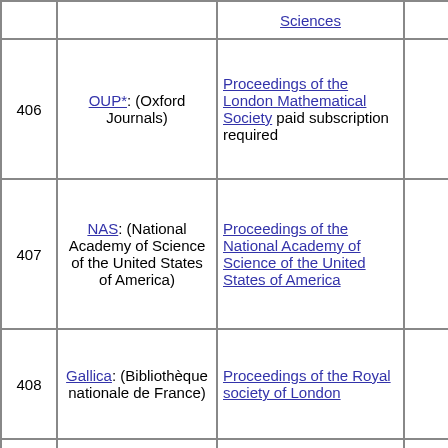| # | Source | Title | Count | Years |
| --- | --- | --- | --- | --- |
|  |  | Sciences |  |  |
| 406 | OUP*: (Oxford Journals) | Proceedings of the London Mathematical Society paid subscription required |  | 1865- |
| 407 | NAS: (National Academy of Science of the United States of America) | Proceedings of the National Academy of Science of the United States of America |  | 191... pres- |
| 408 | Gallica: (Bibliothèque nationale de France) | Proceedings of the Royal society of London |  | 1832- |
| 409 | JSTOR*: (Journal STORage) | Proceedings of the Royal Society of London partially paid subscription required, older material free | 40584 | 1854- |
| 410 | JSTOR*: (Journal STORage) | Proceedings of the Royal Society of London. Series A, Containing Papers of a Mathematical and Physical Chara... | 51429 | 1905- |